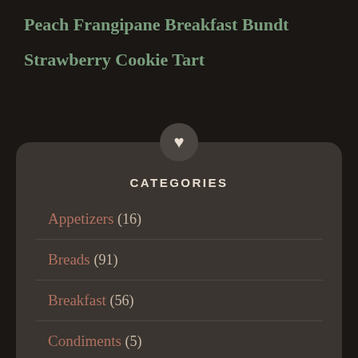Peach Frangipane Breakfast Bundt
Strawberry Cookie Tart
CATEGORIES
Appetizers (16)
Breads (91)
Breakfast (56)
Condiments (5)
Desserts (171)
Cookies (84)
Drinks/Beverages (2)
Main Dishes (99)